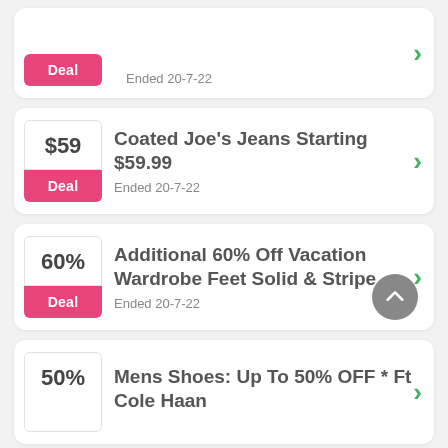[Figure (screenshot): Partial deal card at top showing a pink Deal button and 'Ended 20-7-22' text with green arrow]
Coated Joe's Jeans Starting $59.99 — Ended 20-7-22
Additional 60% Off Vacation Wardrobe Feet Solid & Stripe — Ended 20-7-22
Mens Shoes: Up To 50% OFF * Ft Cole Haan